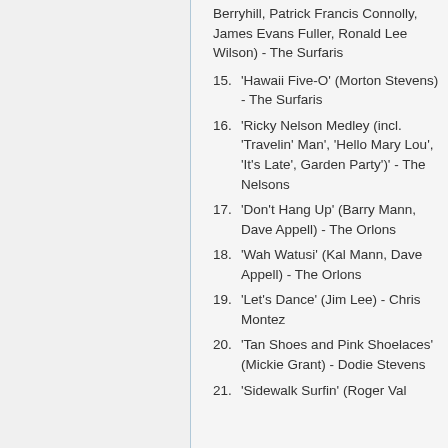Berryhill, Patrick Francis Connolly, James Evans Fuller, Ronald Lee Wilson) - The Surfaris
15. 'Hawaii Five-O' (Morton Stevens) - The Surfaris
16. 'Ricky Nelson Medley (incl. 'Travelin' Man', 'Hello Mary Lou', 'It's Late', Garden Party')' - The Nelsons
17. 'Don't Hang Up' (Barry Mann, Dave Appell) - The Orlons
18. 'Wah Watusi' (Kal Mann, Dave Appell) - The Orlons
19. 'Let's Dance' (Jim Lee) - Chris Montez
20. 'Tan Shoes and Pink Shoelaces' (Mickie Grant) - Dodie Stevens
21. 'Sidewalk Surfin' (Roger Val...